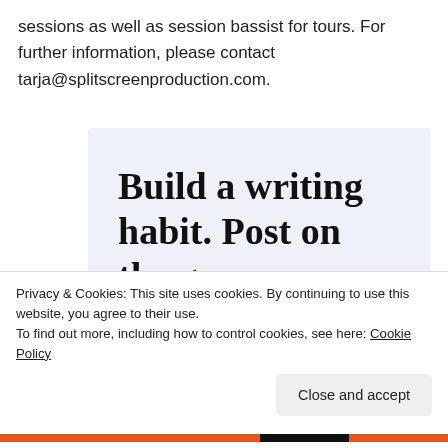sessions as well as session bassist for tours. For further information, please contact tarja@splitscreenproduction.com.
[Figure (infographic): WordPress mobile app advertisement with light blue background. Large serif text reads 'Build a writing habit. Post on the go.' with 'GET THE APP' link in blue and WordPress logo icon at bottom right.]
Privacy & Cookies: This site uses cookies. By continuing to use this website, you agree to their use.
To find out more, including how to control cookies, see here: Cookie Policy
Close and accept